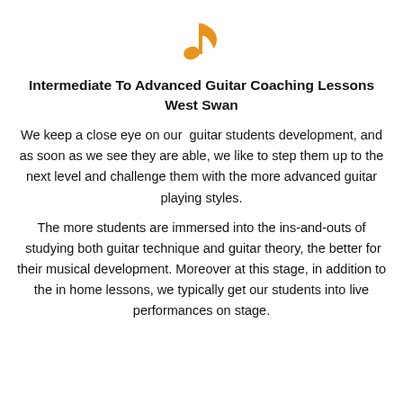[Figure (illustration): Orange musical note icon]
Intermediate To Advanced Guitar Coaching Lessons West Swan
We keep a close eye on our  guitar students development, and as soon as we see they are able, we like to step them up to the next level and challenge them with the more advanced guitar playing styles.
The more students are immersed into the ins-and-outs of  studying both guitar technique and guitar theory, the better for their musical development. Moreover at this stage, in addition to the in home lessons, we typically get our students into live performances on stage.